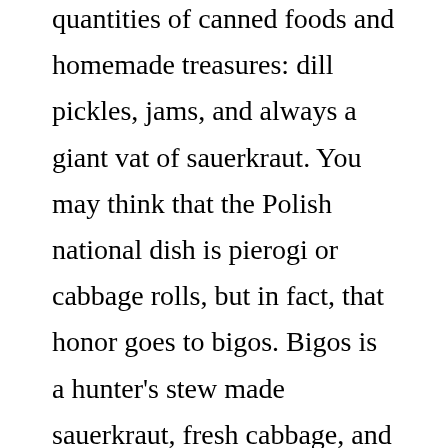quantities of canned foods and homemade treasures: dill pickles, jams, and always a giant vat of sauerkraut. You may think that the Polish national dish is pierogi or cabbage rolls, but in fact, that honor goes to bigos. Bigos is a hunter's stew made sauerkraut, fresh cabbage, and various meats. Growing up, it was served at pretty much every formal dinner my parents had with their various friends and relatives. I never really cared for it as a kid, and haven't really had the opportunity to try it since becoming a